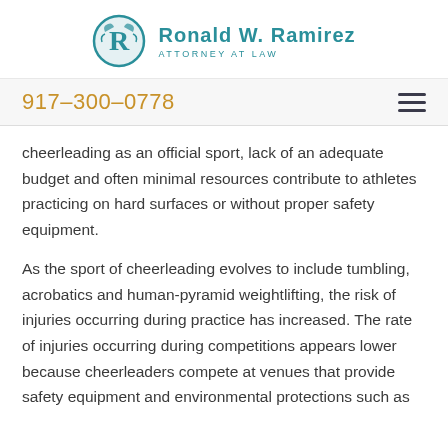Ronald W. Ramirez Attorney at Law
917-300-0778
cheerleading as an official sport, lack of an adequate budget and often minimal resources contribute to athletes practicing on hard surfaces or without proper safety equipment.
As the sport of cheerleading evolves to include tumbling, acrobatics and human-pyramid weightlifting, the risk of injuries occurring during practice has increased. The rate of injuries occurring during competitions appears lower because cheerleaders compete at venues that provide safety equipment and environmental protections such as